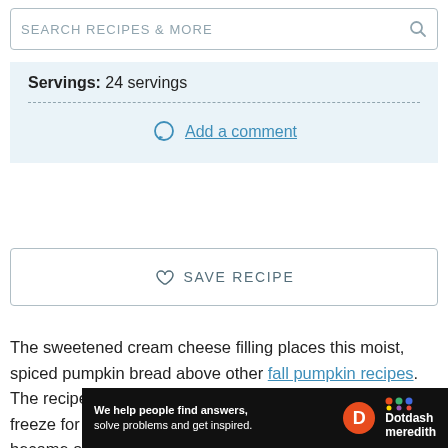SEARCH RECIPES & MORE
Servings: 24 servings
Add a comment
SAVE RECIPE
The sweetened cream cheese filling places this moist, spiced pumpkin bread above other fall pumpkin recipes. The recipe makes two loaves, one for now and one to freeze for later. This different and flavorful bread will become a family favorite you'll make every season.
[Figure (other): Dotdash Meredith advertisement banner with text: We help people find answers, solve problems and get inspired.]